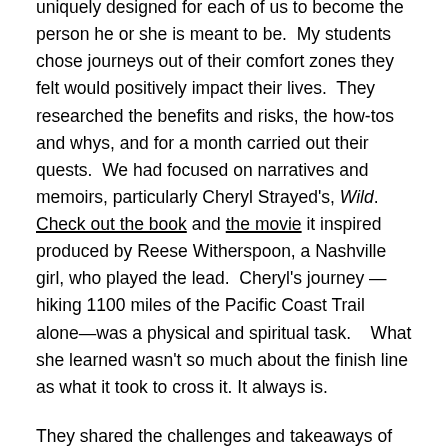uniquely designed for each of us to become the person he or she is meant to be.  My students chose journeys out of their comfort zones they felt would positively impact their lives.  They researched the benefits and risks, the how-tos and whys, and for a month carried out their quests.  We had focused on narratives and memoirs, particularly Cheryl Strayed's, Wild.  Check out the book and the movie it inspired produced by Reese Witherspoon, a Nashville girl, who played the lead.  Cheryl's journey — hiking 1100 miles of the Pacific Coast Trail alone—was a physical and spiritual task.   What she learned wasn't so much about the finish line as what it took to cross it. It always is.
They shared the challenges and takeaways of playing instruments, learning sign language, serving in the community and beyond.  They practiced yoga, veganism, and ran, boxed, rock-climbed, and hiked their way across Nashville.  One student after learning to play the guitar changed her major from Music Business to Music Therapy; others sought counseling to heal old wounds so they could move forward.  They challenged